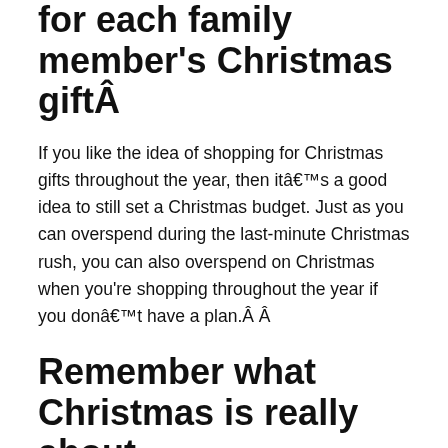for each family member's Christmas giftÂ
If you like the idea of shopping for Christmas gifts throughout the year, then itâs a good idea to still set a Christmas budget. Just as you can overspend during the last-minute Christmas rush, you can also overspend on Christmas when you're shopping throughout the year if you donât have a plan.Â Â
Remember what Christmas is really about
This Christmas give yourself the gift of more time, less stress, and less debt by shopping for holiday gifts all year long! This strategy will give you the